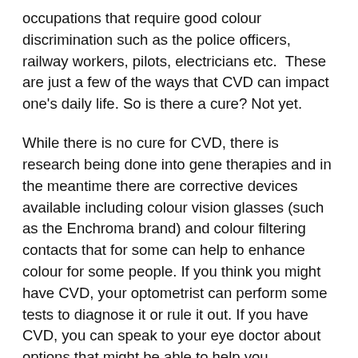occupations that require good colour discrimination such as the police officers, railway workers, pilots, electricians etc.  These are just a few of the ways that CVD can impact one's daily life. So is there a cure? Not yet.
While there is no cure for CVD, there is research being done into gene therapies and in the meantime there are corrective devices available including colour vision glasses (such as the Enchroma brand) and colour filtering contacts that for some can help to enhance colour for some people. If you think you might have CVD, your optometrist can perform some tests to diagnose it or rule it out. If you have CVD, you can speak to your eye doctor about options that might be able to help you experience your world in full colour.